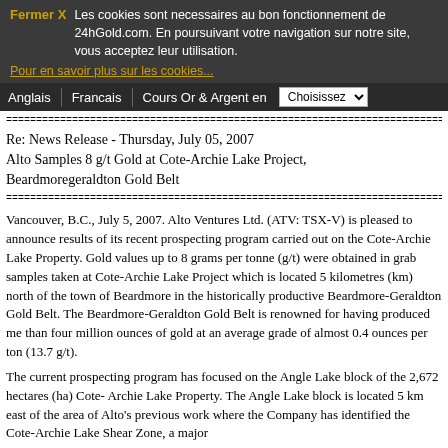Fermer X  Les cookies sont necessaires au bon fonctionnement de 24hGold.com. En poursuivant votre navigation sur notre site, vous acceptez leur utilisation. Pour en savoir plus sur les cookies...
Anglais | Francais | Cours Or & Argent en | Choisissez
================================================================================
Re: News Release - Thursday, July 05, 2007
Alto Samples 8 g/t Gold at Cote-Archie Lake Project, Beardmoregeraldton Gold Belt
================================================================================
Vancouver, B.C., July 5, 2007. Alto Ventures Ltd. (ATV: TSX-V) is pleased to announce results of its recent prospecting program carried out on the Cote-Archie Lake Property. Gold values up to 8 grams per tonne (g/t) were obtained in grab samples taken at Cote-Archie Lake Project which is located 5 kilometres (km) north of the town of Beardmore in the historically productive Beardmore-Geraldton Gold Belt. The Beardmore-Geraldton Gold Belt is renowned for having produced more than four million ounces of gold at an average grade of almost 0.4 ounces per ton (13.7 g/t).
The current prospecting program has focused on the Angle Lake block of the 2,672 hectares (ha) Cote- Archie Lake Property. The Angle Lake block is located 5 km east of the area of Alto's previous work where the Company has identified the Cote-Archie Lake Shear Zone, a major